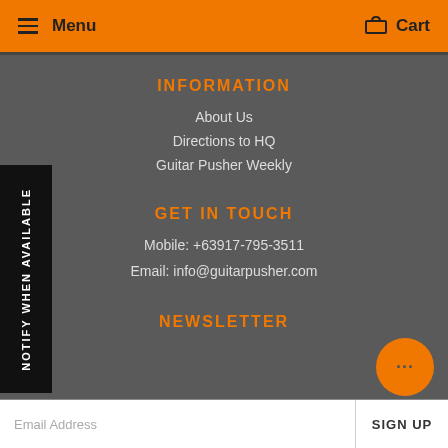Menu  Cart
INFORMATION
About Us
Directions to HQ
Guitar Pusher Weekly
GET IN TOUCH
Mobile: +63917-795-3511
Email: info@guitarpusher.com
NEWSLETTER
NOTIFY WHEN AVAILABLE
Email Address  SIGN UP